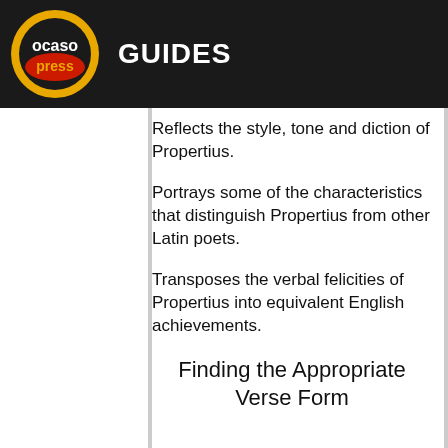ocaso press GUIDES
Reflects the style, tone and diction of Propertius.
Portrays some of the characteristics that distinguish Propertius from other Latin poets.
Transposes the verbal felicities of Propertius into equivalent English achievements.
Finding the Appropriate Verse Form